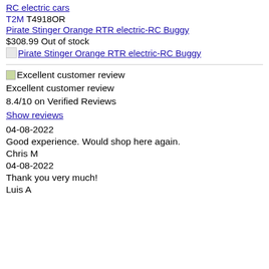RC electric cars
T2M T4918OR
Pirate Stinger Orange RTR electric-RC Buggy
$308.99 Out of stock
[Figure (photo): Placeholder image for Pirate Stinger Orange RTR electric-RC Buggy]
[Figure (illustration): Small icon next to Excellent customer review badge]
Excellent customer review
8.4/10 on Verified Reviews
Show reviews
04-08-2022
Good experience. Would shop here again.
Chris M
04-08-2022
Thank you very much!
Luis A